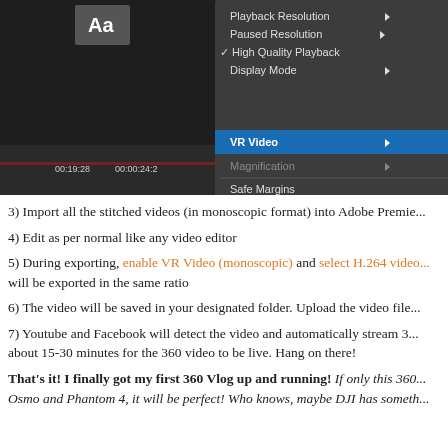[Figure (screenshot): Adobe Premiere Pro screenshot showing a context menu with 'VR Video' highlighted in blue, with submenu showing 'Enable' checked and 'Settings...' option. Menu items include Playback Resolution, Paused Resolution, High Quality Playback, Display Mode, VR Video, Magnification, Safe Margins, Overlays, Multi-Camera Audio Follows Video, Show Multi-Camera Preview Monitor. On the right side, export settings panel is partially visible.]
3) Import all the stitched videos (in monoscopic format) into Adobe Premie...
4) Edit as per normal like any video editor
5) During exporting, enable VR Video (monoscopic) and select H.264 video... will be exported in the same ratio
6) The video will be saved in your designated folder. Upload the video file...
7) Youtube and Facebook will detect the video and automatically stream 3... about 15-30 minutes for the 360 video to be live. Hang on there!
That's it! I finally got my first 360 Vlog up and running! If only this 360... Osmo and Phantom 4, it will be perfect! Who knows, maybe DJI has someth...